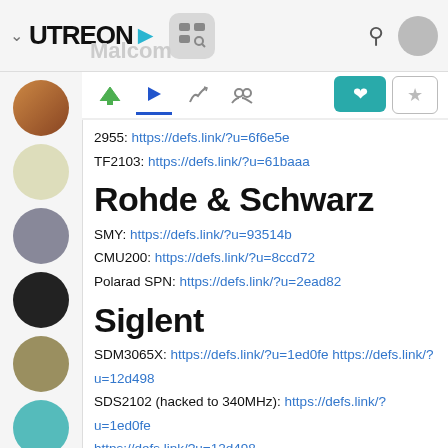[Figure (screenshot): Utreon website navigation header with logo, icons, search and avatar]
[Figure (screenshot): Left sidebar with circular avatar thumbnails of various channels]
[Figure (screenshot): Tab bar with navigation icons and heart/star buttons]
2955: https://defs.link/?u=6f6e5e
TF2103: https://defs.link/?u=61baaa
Rohde & Schwarz
SMY: https://defs.link/?u=93514b
CMU200: https://defs.link/?u=8ccd72
Polarad SPN: https://defs.link/?u=2ead82
Siglent
SDM3065X: https://defs.link/?u=1ed0fe https://defs.link/?u=12d498
SDS2102 (hacked to 340MHz): https://defs.link/?u=1ed0fe https://defs.link/?u=12d498
SPL-1008.
SDP1168X: https://defs.link/?u=1ed0fe https://defs.link/?u=12d498
SDL1020X-E: https://defs.link/?u=a0eccb
Other Equipment